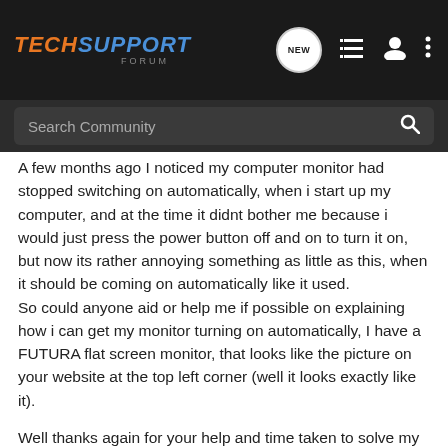TECHSUPPORT FORUM
Search Community
A few months ago I noticed my computer monitor had stopped switching on automatically, when i start up my computer, and at the time it didnt bother me because i would just press the power button off and on to turn it on, but now its rather annoying something as little as this, when it should be coming on automatically like it used.
So could anyone aid or help me if possible on explaining how i can get my monitor turning on automatically, I have a FUTURA flat screen monitor, that looks like the picture on your website at the top left corner (well it looks exactly like it).

Well thanks again for your help and time taken to solve my problem, if it can be.

blade_sabre aka chris